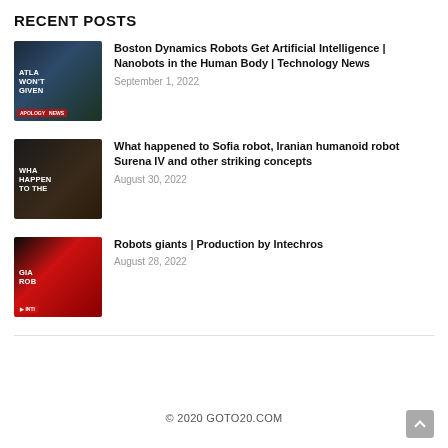RECENT POSTS
[Figure (photo): Thumbnail image of Boston Dynamics robot with text overlay: ATLA / WON'T / GIVEN and news badge]
Boston Dynamics Robots Get Artificial Intelligence | Nanobots in the Human Body | Technology News
September 1, 2022
[Figure (photo): Thumbnail image of Sofia robot with text overlay: WHA / HAPPEN / TO THE]
What happened to Sofia robot, Iranian humanoid robot Surena IV and other striking concepts
August 30, 2022
[Figure (photo): Thumbnail image with red background, text: GIA / ROB and INTI badge]
Robots giants | Production by Intechros
August 28, 2022
© 2020 GOTO20.COM